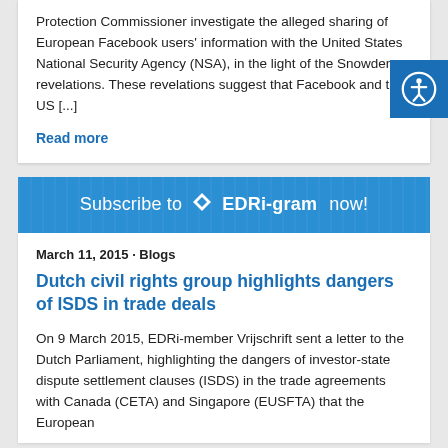Protection Commissioner investigate the alleged sharing of European Facebook users' information with the United States National Security Agency (NSA), in the light of the Snowden revelations. These revelations suggest that Facebook and the US [...]
Read more
[Figure (other): Blue banner reading 'Subscribe to EDRi-gram now!' with diamond logo]
March 11, 2015 · Blogs
Dutch civil rights group highlights dangers of ISDS in trade deals
On 9 March 2015, EDRi-member Vrijschrift sent a letter to the Dutch Parliament, highlighting the dangers of investor-state dispute settlement clauses (ISDS) in the trade agreements with Canada (CETA) and Singapore (EUSFTA) that the European